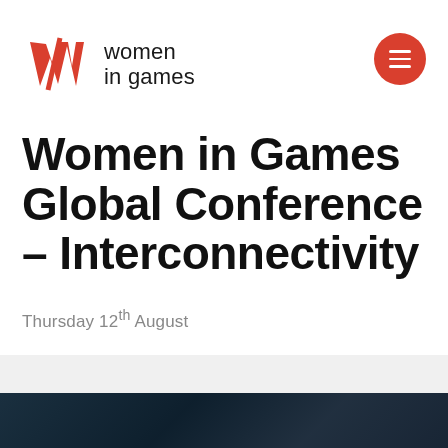[Figure (logo): Women in Games logo: red stylized W mark with diagonal slash, followed by text 'women in games' in dark sans-serif]
Women in Games Global Conference – Interconnectivity
Thursday 12th August
[Figure (photo): Dark teal/night image partially visible at bottom of page]